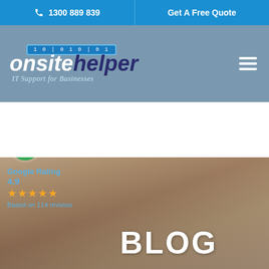1300 889 839 | Get A Free Quote
[Figure (logo): Onsite Helper logo with binary code badge, text 'onsite' in white italic and 'helper' in dark blue italic, tagline 'IT Support for Businesses']
[Figure (infographic): Google Rating widget showing 4.9 stars, 5 orange stars, Based on 114 reviews]
BLOG